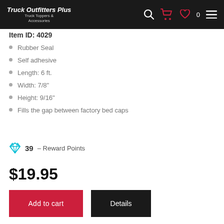Truck Outfitters Plus — Truck Toppers & Accessories
Item ID: 4029
Rubber Seal
Self adhesive
Length: 6 ft.
Width: 7/8"
Height: 9/16"
Fills the gap between factory bed caps
39 – Reward Points
$19.95
Add to cart
Details